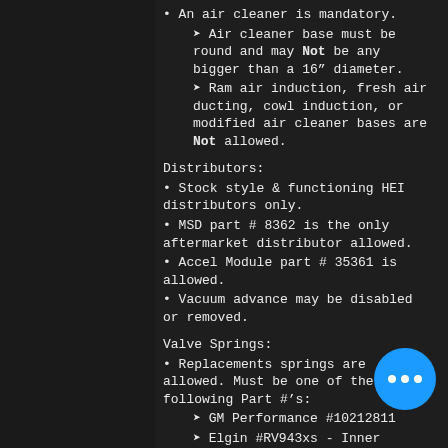• An air cleaner is mandatory.
➤ Air cleaner base must be round and may Not be any bigger than a 16" diameter.
➤ Ram air induction, fresh air ducting, cowl induction, or modified air cleaner bases are Not allowed.
Distributors:
• Stock style & functioning HEI distributors only.
• MSD part # 8362 is the only aftermarket distributor allowed.
• Accel Module part # 35361 is allowed.
• Vacuum advance may be disabled or removed.
Valve Springs:
• Replacements springs are allowed. Must be one of the following Part #'s:
➤ GM Performance #10212811
➤ Elgin #RV943xs - Inner springs must be removed.
Water Pump & Pulleys:
• Stock standard length water pumps
• Stock or aftermarket pulleys are allo...
• Aftermarket reduction pulleys are allo... with max 30 % reduction.